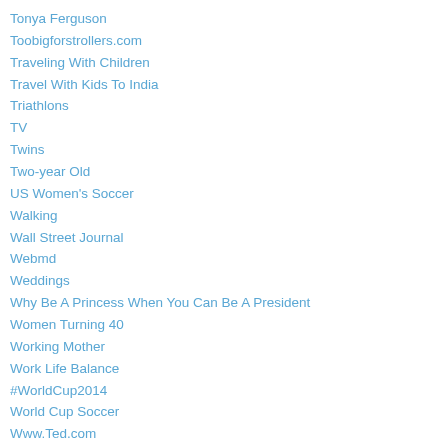Tonya Ferguson
Toobigforstrollers.com
Traveling With Children
Travel With Kids To India
Triathlons
TV
Twins
Two-year Old
US Women's Soccer
Walking
Wall Street Journal
Webmd
Weddings
Why Be A Princess When You Can Be A President
Women Turning 40
Working Mother
Work Life Balance
#WorldCup2014
World Cup Soccer
Www.Ted.com